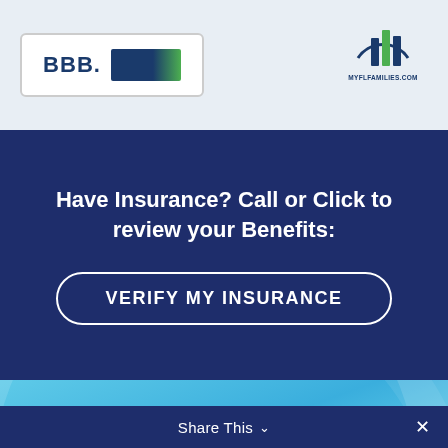[Figure (logo): BBB logo badge with teal/dark bar on white background, top-left]
[Figure (logo): MyFLFamilies.com children and families logo, top-right with MYFLFAMILIES.COM text]
Have Insurance? Call or Click to review your Benefits:
[Figure (other): VERIFY MY INSURANCE button with white rounded border on dark navy background]
[Figure (logo): Palm tree icon in dark navy circle on light blue gradient background]
Healing the Mind, Body, and Spirit
Share This ∨